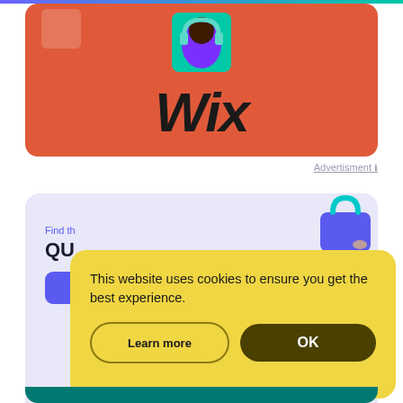[Figure (screenshot): Wix advertisement banner with coral/red-orange background showing person wearing headphones and purple shirt, with large bold 'Wix' text below]
Advertisment ℹ
[Figure (screenshot): Website card section with light purple background, shopping bag icon, partial text 'Find th...' and 'QU...' with purple buttons]
This website uses cookies to ensure you get the best experience.
Learn more
OK